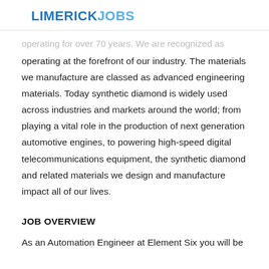LIMERICKJOBS
operating for over 70 years. We are recognized as operating at the forefront of our industry. The materials we manufacture are classed as advanced engineering materials. Today synthetic diamond is widely used across industries and markets around the world; from playing a vital role in the production of next generation automotive engines, to powering high-speed digital telecommunications equipment, the synthetic diamond and related materials we design and manufacture impact all of our lives.
JOB OVERVIEW
As an Automation Engineer at Element Six you will be